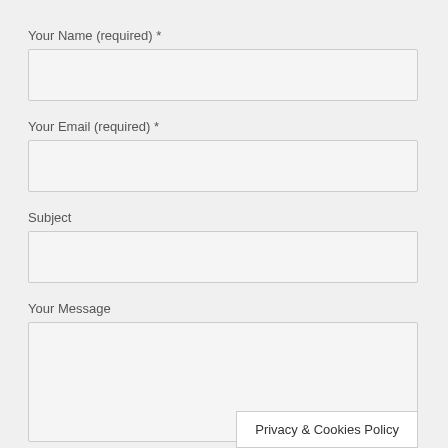Your Name (required) *
Your Email (required) *
Subject
Your Message
Privacy & Cookies Policy